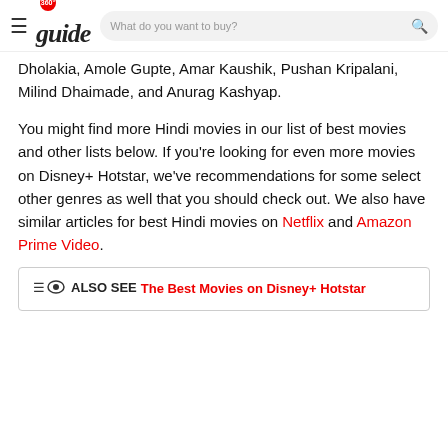360 guide | What do you want to buy?
Dholakia, Amole Gupte, Amar Kaushik, Pushan Kripalani, Milind Dhaimade, and Anurag Kashyap.
You might find more Hindi movies in our list of best movies and other lists below. If you're looking for even more movies on Disney+ Hotstar, we've recommendations for some select other genres as well that you should check out. We also have similar articles for best Hindi movies on Netflix and Amazon Prime Video.
ALSO SEE  The Best Movies on Disney+ Hotstar